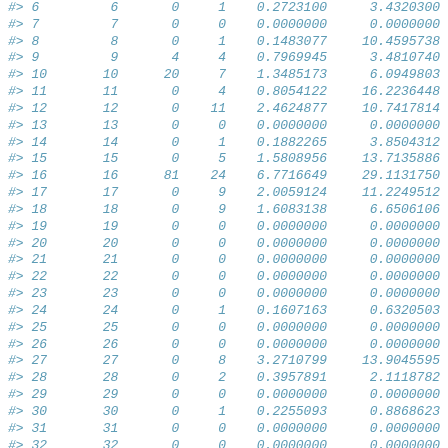| #> 6 | 6 | 0 | 1 | 0.2723100 | 3.4320300 |
| #> 7 | 7 | 0 | 0 | 0.0000000 | 0.0000000 |
| #> 8 | 8 | 0 | 1 | 0.1483077 | 10.4595738 |
| #> 9 | 9 | 4 | 4 | 0.7969945 | 3.4810740 |
| #> 10 | 10 | 20 | 7 | 1.3485173 | 6.0949803 |
| #> 11 | 11 | 0 | 4 | 0.8054122 | 16.2236448 |
| #> 12 | 12 | 0 | 11 | 2.4624877 | 10.7417814 |
| #> 13 | 13 | 0 | 0 | 0.0000000 | 0.0000000 |
| #> 14 | 14 | 0 | 1 | 0.1882265 | 3.8504312 |
| #> 15 | 15 | 0 | 5 | 1.5808956 | 13.7135886 |
| #> 16 | 16 | 81 | 24 | 6.7716649 | 29.1131750 |
| #> 17 | 17 | 0 | 9 | 2.0059124 | 11.2249512 |
| #> 18 | 18 | 0 | 9 | 1.6083138 | 6.6506106 |
| #> 19 | 19 | 0 | 0 | 0.0000000 | 0.0000000 |
| #> 20 | 20 | 0 | 0 | 0.0000000 | 0.0000000 |
| #> 21 | 21 | 0 | 0 | 0.0000000 | 0.0000000 |
| #> 22 | 22 | 0 | 0 | 0.0000000 | 0.0000000 |
| #> 23 | 23 | 0 | 0 | 0.0000000 | 0.0000000 |
| #> 24 | 24 | 0 | 1 | 0.1607163 | 0.6320503 |
| #> 25 | 25 | 0 | 0 | 0.0000000 | 0.0000000 |
| #> 26 | 26 | 0 | 0 | 0.0000000 | 0.0000000 |
| #> 27 | 27 | 0 | 8 | 3.2710799 | 13.9045595 |
| #> 28 | 28 | 0 | 2 | 0.3957891 | 2.1118782 |
| #> 29 | 29 | 0 | 0 | 0.0000000 | 0.0000000 |
| #> 30 | 30 | 0 | 1 | 0.2255093 | 0.8868623 |
| #> 31 | 31 | 0 | 0 | 0.0000000 | 0.0000000 |
| #> 32 | 32 | 0 | 0 | 0.0000000 | 0.0000000 |
| #> 33 | 33 | 0 | 0 | 0.0000000 | 0.0000000 |